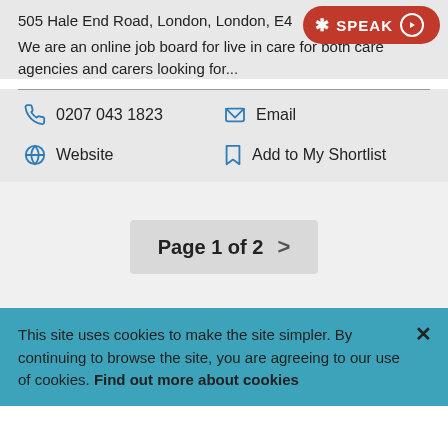505 Hale End Road, London, London, E4...
We are an online job board for live in care for both care agencies and carers looking for...
0207 043 1823
Email
Website
Add to My Shortlist
Page 1 of 2 >
This site uses cookies to make the site simpler. By continuing to browse the site, you are agreeing to our use of cookies. Find out more about cookies